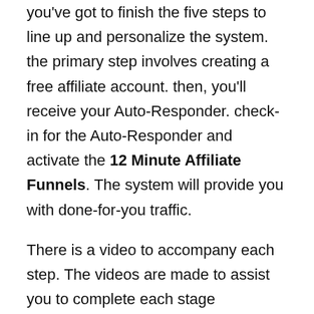you've got to finish the five steps to line up and personalize the system. the primary step involves creating a free affiliate account. then, you'll receive your Auto-Responder. check-in for the Auto-Responder and activate the 12 Minute Affiliate Funnels. The system will provide you with done-for-you traffic.
There is a video to accompany each step. The videos are made to assist you to complete each stage successfully. Devon also provides the users with the choice of getting their accounts found out by the support team. While you'll only need 12 minutes to finish the setup of the do-it-yourself way, the support team will take around 1-2 business days to finish it.
If you're new to the planet of affiliate marketing, you'll